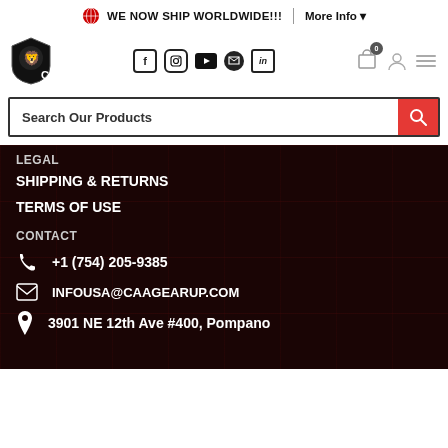🌐 WE NOW SHIP WORLDWIDE!!! | More Info ▾
[Figure (logo): CAA logo with lion shield emblem and social media icons (Facebook, Instagram, YouTube, messaging, LinkedIn), cart, user, and menu icons]
Search Our Products
LEGAL
SHIPPING & RETURNS
TERMS OF USE
CONTACT
+1 (754) 205-9385
INFOUSA@CAAGEARUP.COM
3901 NE 12th Ave #400, Pompano